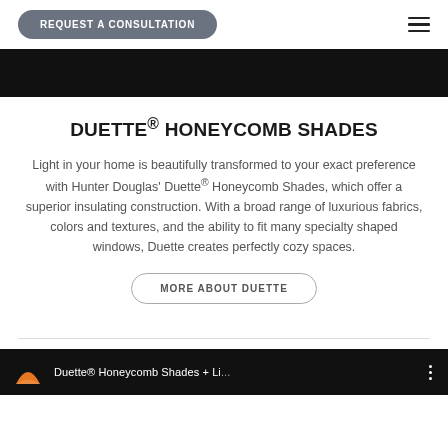REQUEST A CONSULTATION
[Figure (screenshot): Black hero banner image strip]
DUETTE® HONEYCOMB SHADES
Light in your home is beautifully transformed to your exact preference with Hunter Douglas' Duette® Honeycomb Shades, which offer a superior insulating construction. With a broad range of luxurious fabrics, colors and textures, and the ability to fit many specialty shaped windows, Duette creates perfectly cozy spaces.
MORE ABOUT DUETTE
[Figure (screenshot): Bottom black banner with orange logo and text: Duette® Honeycomb Shades + Li...]